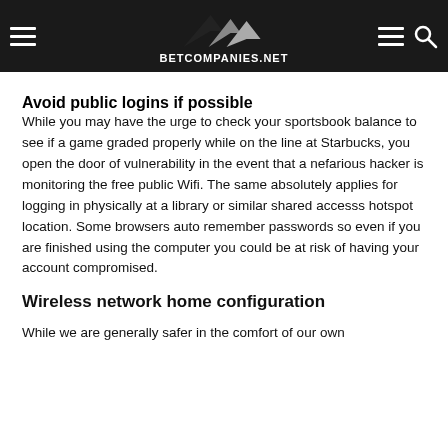BETCOMPANIES.NET
Avoid public logins if possible
While you may have the urge to check your sportsbook balance to see if a game graded properly while on the line at Starbucks, you open the door of vulnerability in the event that a nefarious hacker is monitoring the free public Wifi. The same absolutely applies for logging in physically at a library or similar shared accesss hotspot location. Some browsers auto remember passwords so even if you are finished using the computer you could be at risk of having your account compromised.
Wireless network home configuration
While we are generally safer in the comfort of our own